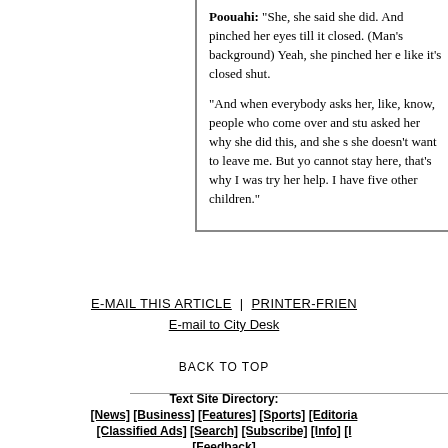Poouahi: "She, she said she did. And pinched her eyes till it closed. (Man's background) Yeah, she pinched her e like it's closed shut.

"And when everybody asks her, like, know, people who come over and stu asked her why she did this, and she s she doesn't want to leave me. But yo cannot stay here, that's why I was try her help. I have five other children."
E-MAIL THIS ARTICLE | PRINTER-FRIEN E-mail to City Desk
BACK TO TOP
Text Site Directory: [News] [Business] [Features] [Sports] [Editoria [Classified Ads] [Search] [Subscribe] [Info] [I [Feedback]